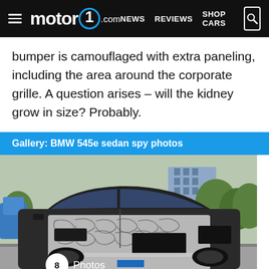motor1.com | NEWS  REVIEWS  SHOP CARS
bumper is camouflaged with extra paneling, including the area around the corporate grille. A question arises – will the kidney grow in size? Probably.
Gallery: BMW 545e sedan spy photos
[Figure (photo): Spy photo of BMW 545e sedan prototype with camouflage wrap on the front end, taken in a parking lot. Badge showing '8 Photos' overlaid in bottom-left corner.]
[Figure (photo): Thumbnail strip of additional spy photos at the bottom of the page.]